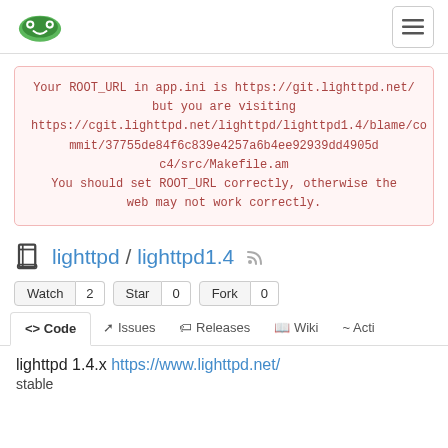lighttpd logo and navigation menu
Your ROOT_URL in app.ini is https://git.lighttpd.net/ but you are visiting https://cgit.lighttpd.net/lighttpd/lighttpd1.4/blame/commit/37755de84f6c839e4257a6b4ee92939dd4905dc4/src/Makefile.am You should set ROOT_URL correctly, otherwise the web may not work correctly.
lighttpd / lighttpd1.4
Watch 2   Star 0   Fork 0
<> Code   Issues   Releases   Wiki   Acti
lighttpd 1.4.x https://www.lighttpd.net/
stable